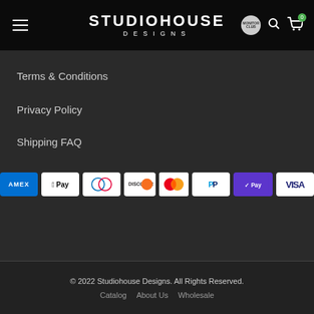STUDIOHOUSE DESIGNS
Terms & Conditions
Privacy Policy
Shipping FAQ
[Figure (infographic): Payment method icons: AMEX, Apple Pay, Diners Club, Discover, Mastercard, PayPal, GPay, Visa]
© 2022 Studiohouse Designs. All Rights Reserved.
Catalog   About Us   Wholesale